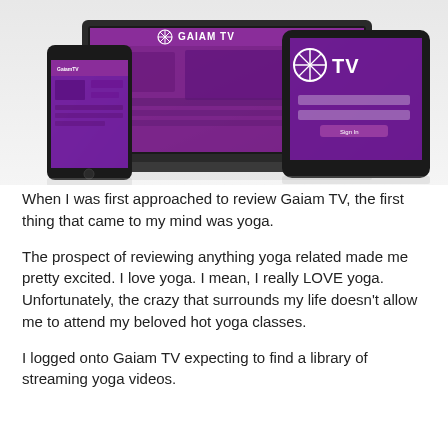[Figure (photo): Photo of Gaiam TV marketing image showing multiple devices — a smartphone, a laptop, and a tablet — all displaying the Gaiam TV interface with purple branding and logo. The Gaiam TV logo with snowflake-like icon appears at the top.]
When I was first approached to review Gaiam TV, the first thing that came to my mind was yoga.
The prospect of reviewing anything yoga related made me pretty excited. I love yoga. I mean, I really LOVE yoga. Unfortunately, the crazy that surrounds my life doesn't allow me to attend my beloved hot yoga classes.
I logged onto Gaiam TV expecting to find a library of streaming yoga videos.